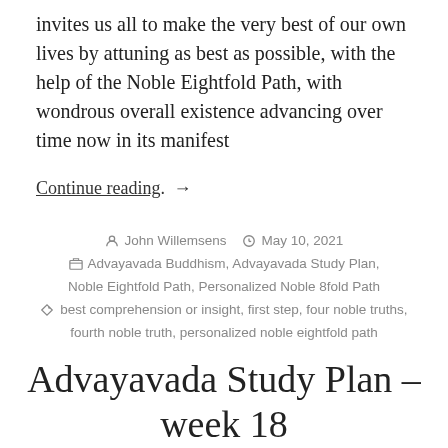invites us all to make the very best of our own lives by attuning as best as possible, with the help of the Noble Eightfold Path, with wondrous overall existence advancing over time now in its manifest
Continue reading. →
John Willemsens   May 10, 2021   Advayavada Buddhism, Advayavada Study Plan, Noble Eightfold Path, Personalized Noble 8fold Path   best comprehension or insight, first step, four noble truths, fourth noble truth, personalized noble eightfold path
Advayavada Study Plan – week 18